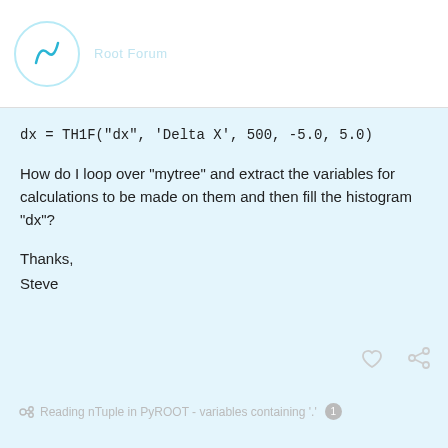dx = TH1F("dx", 'Delta X', 500, -5.0, 5.0)
How do I loop over "mytree" and extract the variables for calculations to be made on them and then fill the histogram "dx"?
Thanks,
Steve
Reading nTuple in PyROOT - variables containing '.' 1
created Nov '06  last reply Nov '06  8 replies
1 / 9
wlay